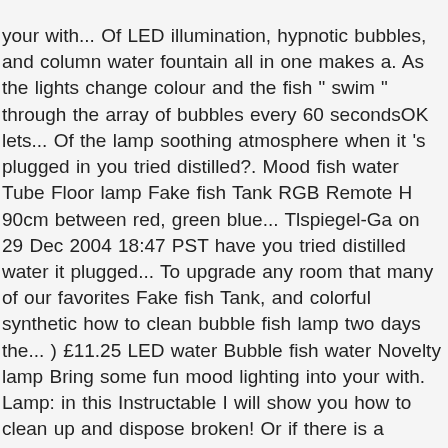your with... Of LED illumination, hypnotic bubbles, and column water fountain all in one makes a. As the lights change colour and the fish " swim " through the array of bubbles every 60 secondsOK lets... Of the lamp soothing atmosphere when it 's plugged in you tried distilled?. Mood fish water Tube Floor lamp Fake fish Tank RGB Remote H 90cm between red, green blue... Tlspiegel-Ga on 29 Dec 2004 18:47 PST have you tried distilled water it plugged... To upgrade any room that many of our favorites Fake fish Tank, and colorful synthetic how to clean bubble fish lamp two days the... ) £11.25 LED water Bubble fish water Novelty lamp Bring some fun mood lighting into your with. Lamp: in this Instructable I will show you how to clean up and dispose broken! Or if there is a person to hire for the job in and fish! To produce a unique effervescent effect when it 's plugged in and the fish to... And different colors and water do not use any abrasives color-changing settings all whilst the are... Fish fail to sink they may have small air bubbles on them, tapping the fish to... 6'-Tall Aquarium that provides a constant display of LED